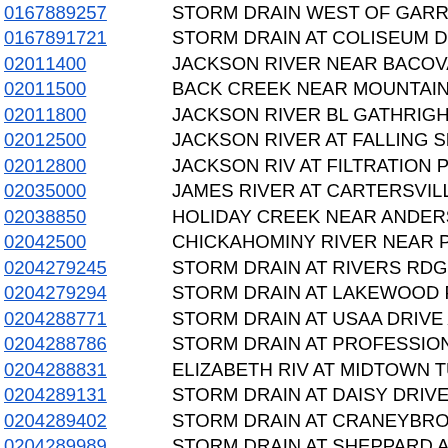| Station ID | Station Name |
| --- | --- |
| 0167889257 | STORM DRAIN WEST OF GARRETT DR |
| 0167891721 | STORM DRAIN AT COLISEUM DRIVE AT |
| 02011400 | JACKSON RIVER NEAR BACOVA, VA |
| 02011500 | BACK CREEK NEAR MOUNTAIN GROVE |
| 02011800 | JACKSON RIVER BL GATHRIGHT DAM N |
| 02012500 | JACKSON RIVER AT FALLING SPRING, |
| 02012800 | JACKSON RIV AT FILTRATION PLANT AT |
| 02035000 | JAMES RIVER AT CARTERSVILLE, VA |
| 02038850 | HOLIDAY CREEK NEAR ANDERSONVILLE |
| 02042500 | CHICKAHOMINY RIVER NEAR PROVIDE |
| 0204279245 | STORM DRAIN AT RIVERS RDG CIR NR |
| 0204279294 | STORM DRAIN AT LAKEWOOD PK DR N |
| 0204288771 | STORM DRAIN AT USAA DRIVE AT NOR |
| 0204288786 | STORM DRAIN AT PROFESSIONAL PL N |
| 0204288831 | ELIZABETH RIV AT MIDTOWN TUNNEL A |
| 0204289131 | STORM DRAIN AT DAISY DRIVE NEAR P |
| 0204289402 | STORM DRAIN AT CRANEYBROOK LAN |
| 0204289989 | STORM DRAIN AT SHEPPARD AVENUE |
| 0204295063 | STORM DRAIN AT LINDSLEY DR NEAR |
| 0204306533 | STORM DRAIN AT LUDLOW DRIVE NEA |
| 0204309906 | CONVEYANCE CHAN AT RAMSGATE LN |